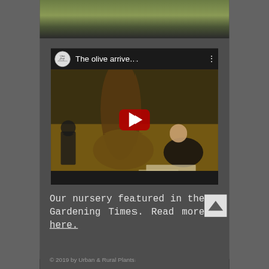[Figure (screenshot): Top portion of a webpage showing a screenshot of a YouTube video embed. The video thumbnail shows 'The olive arrive...' with a channel logo on the left, three dots menu on the right, and a large red play button in the center. The scene depicts an olive tree being planted with workers around it.]
Our nursery featured in the Gardening Times. Read more here.
© 2019 by Urban & Rural Plants